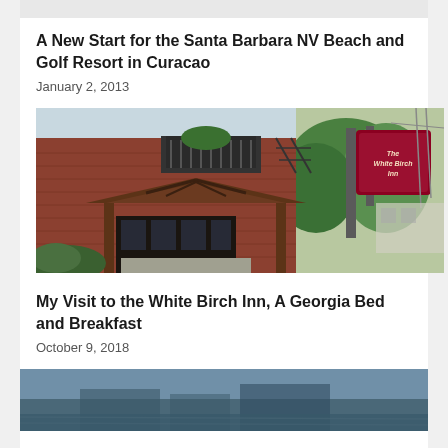A New Start for the Santa Barbara NV Beach and Golf Resort in Curacao
January 2, 2013
[Figure (photo): Exterior photo of a brick building with a wooden entrance canopy, balcony with plants, fire escape stairs, and a sign reading 'The White Birch Inn' on a post to the right. Green trees visible in background.]
My Visit to the White Birch Inn, A Georgia Bed and Breakfast
October 9, 2018
[Figure (photo): Partially visible photo at bottom of page showing a bluish-teal scene, likely a waterfront or outdoor setting.]